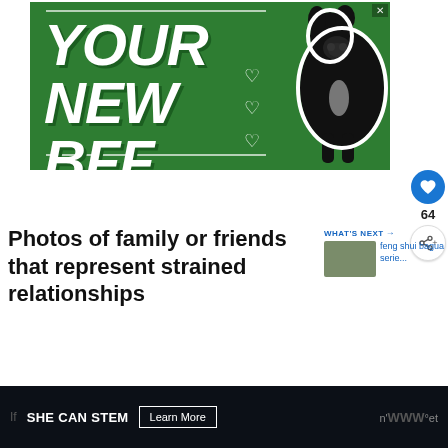[Figure (illustration): Green advertisement banner reading YOUR NEW BFF with heart outlines and a black dog illustration. Close X button in top right corner.]
Photos of family or friends that represent strained relationships
[Figure (infographic): WHAT'S NEXT panel with thumbnail image and text 'feng shui bagua serie...']
[Figure (screenshot): Dark bottom advertisement banner with SHE CAN STEM text and Learn More button]
If                                               n't get